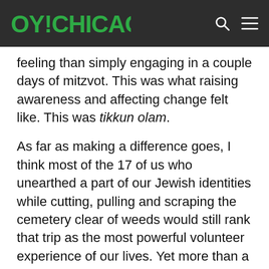OY!CHICAGO
feeling than simply engaging in a couple days of mitzvot. This was what raising awareness and affecting change felt like. This was tikkun olam.
As far as making a difference goes, I think most of the 17 of us who unearthed a part of our Jewish identities while cutting, pulling and scraping the cemetery clear of weeds would still rank that trip as the most powerful volunteer experience of our lives. Yet more than a decade later, many of us have chosen difference-making, fulfilling paths. Four of us from that trip, myself included, became youth group advisors (one led a future trip to Kolin), a handful of us work for Jewish non-profits (again, myself included) and a few have